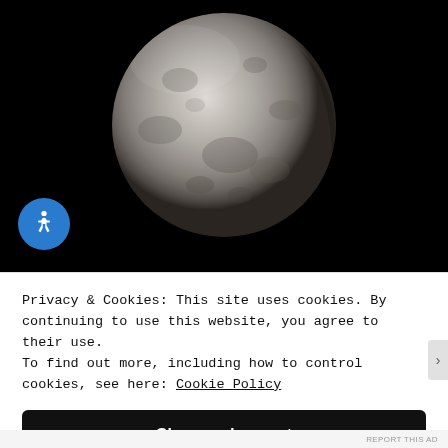[Figure (photo): Close-up photograph of a full moon against a black night sky background. The moon shows detailed surface features including craters and maria. An accessibility (wheelchair) icon button in blue circle is overlaid in the bottom-left of the photo area.]
Privacy & Cookies: This site uses cookies. By continuing to use this website, you agree to their use.
To find out more, including how to control cookies, see here: Cookie Policy
Close and accept